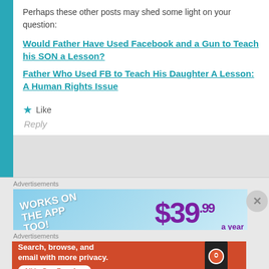Perhaps these other posts may shed some light on your question:
Would Father Have Used Facebook and a Gun to Teach his SON a Lesson?
Father Who Used FB to Teach His Daughter A Lesson: A Human Rights Issue
Like
Reply
Advertisements
[Figure (infographic): Advertisement banner: WORKS ON THE APP TOO! $39.99 a year]
Advertisements
[Figure (infographic): DuckDuckGo advertisement: Search, browse, and email with more privacy. All in One Free App]